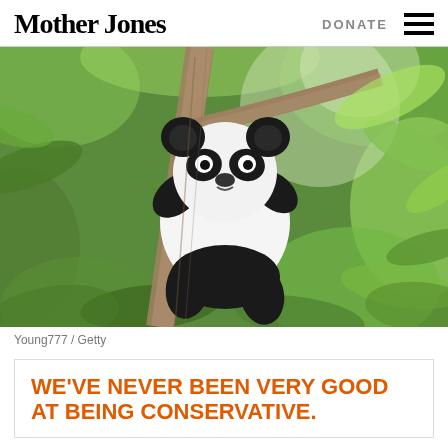Mother Jones   DONATE
[Figure (photo): Baby giant panda cub clinging to a tree trunk, surrounded by green foliage, photographed by Young777 / Getty]
Young777 / Getty
WE'VE NEVER BEEN VERY GOOD AT BEING CONSERVATIVE.